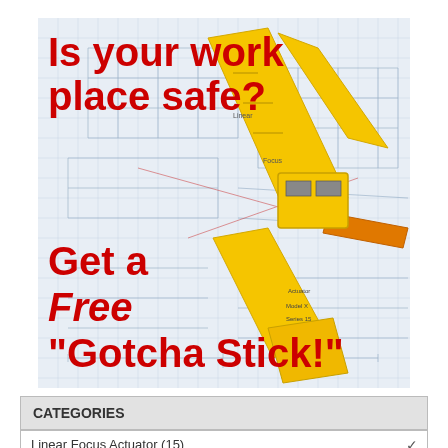[Figure (infographic): Workplace safety advertisement image showing yellow industrial actuator/tool (Gotcha Stick) overlaid on engineering blueprint drawings. Bold red text asks 'Is your work place safe? Get a Free Gotcha Stick!']
CATEGORIES
Linear Focus Actuator  (15)